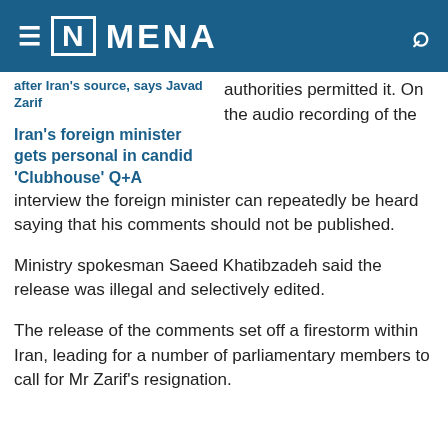≡ [N] MENA
after Iran's source, says Javad Zarif
authorities permitted it. On the audio recording of the
Iran's foreign minister gets personal in candid 'Clubhouse' Q+A
interview the foreign minister can repeatedly be heard saying that his comments should not be published.
Ministry spokesman Saeed Khatibzadeh said the release was illegal and selectively edited.
The release of the comments set off a firestorm within Iran, leading for a number of parliamentary members to call for Mr Zarif's resignation.